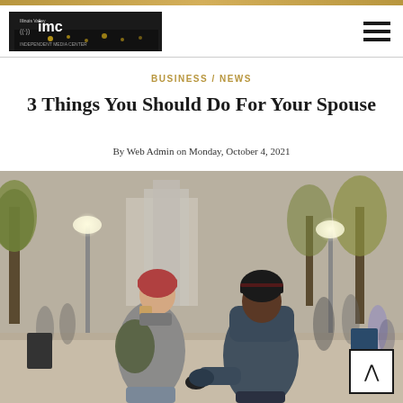IMC - Illinois Valley IMC logo and navigation
BUSINESS / NEWS
3 Things You Should Do For Your Spouse
By Web Admin on Monday, October 4, 2021
[Figure (photo): A couple holding hands walking away from the camera through a public plaza or park, both wearing winter coats and hats. The woman on the left has a red knit cap and grey coat with a green backpack; the man on the right wears a dark puffer jacket and dark beanie. Trees with autumn foliage and street lights are visible in the background with many other people.]